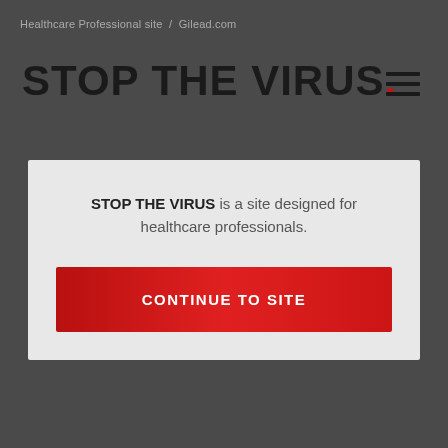Healthcare Professional site  /  Gilead.com
STOP THE VIRUS.
STOP THE VIRUS is a site designed for healthcare professionals.
CONTINUE TO SITE